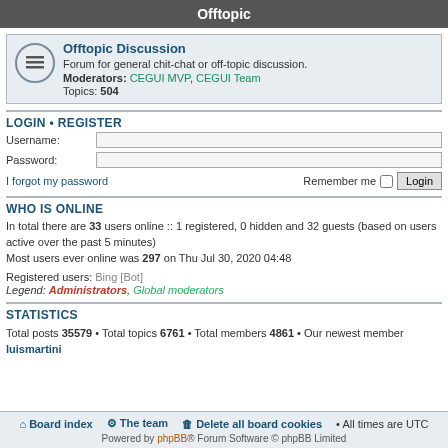Offtopic
Offtopic Discussion
Forum for general chit-chat or off-topic discussion. Moderators: CEGUI MVP, CEGUI Team Topics: 504
LOGIN • REGISTER
Username:
Password:
I forgot my password   Remember me  Login
WHO IS ONLINE
In total there are 33 users online :: 1 registered, 0 hidden and 32 guests (based on users active over the past 5 minutes)
Most users ever online was 297 on Thu Jul 30, 2020 04:48
Registered users: Bing [Bot]
Legend: Administrators, Global moderators
STATISTICS
Total posts 35579 • Total topics 6761 • Total members 4861 • Our newest member luismartini
Board index   The team   Delete all board cookies • All times are UTC
Powered by phpBB® Forum Software © phpBB Limited